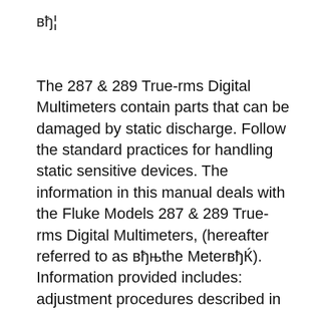вђ¦
The 287 & 289 True-rms Digital Multimeters contain parts that can be damaged by static discharge. Follow the standard practices for handling static sensitive devices. The information in this manual deals with the Fluke Models 287 & 289 True-rms Digital Multimeters, (hereafter referred to as вђњthe MeterвђЌ). Information provided includes: adjustment procedures described in this manual unless you are qualified to do so. вђў The information provided in this manual is for the use of qualified personnel only. WCaution вђў The 80 Series V Digital Multimeters contains parts that can be damaged by